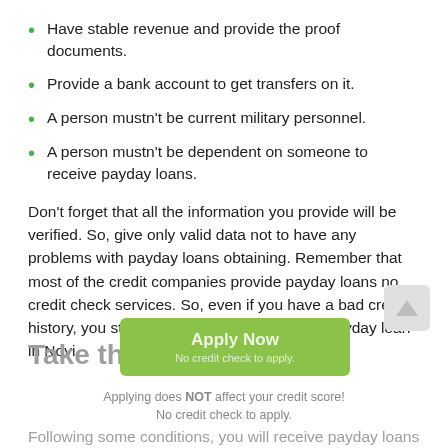Have stable revenue and provide the proof documents.
Provide a bank account to get transfers on it.
A person mustn't be current military personnel.
A person mustn't be dependent on someone to receive payday loans.
Don't forget that all the information you provide will be verified. So, give only valid data not to have any problems with payday loans obtaining. Remember that most of the credit companies provide payday loans no credit check services. So, even if you have a bad credit history, you still have a chance to receive a payday loan in Novi.
Take the Money Now
[Figure (other): Green Apply Now button with text 'Apply Now' and subtext 'No credit check to apply.']
Applying does NOT affect your credit score!
No credit check to apply.
Following some conditions, you will receive payday loans easily: